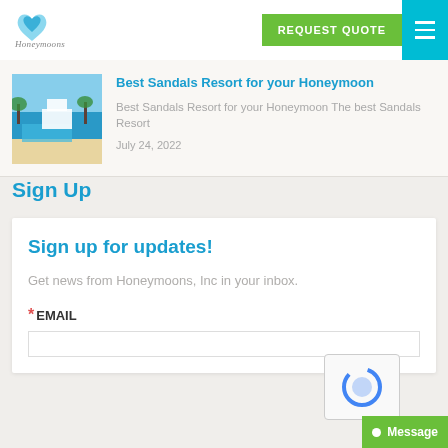[Figure (logo): Honeymoons Inc cursive logo with heart icon]
[Figure (other): Green REQUEST QUOTE button and blue hamburger menu button]
[Figure (photo): Thumbnail photo of a Sandals resort beach and pool]
Best Sandals Resort for your Honeymoon
Best Sandals Resort for your Honeymoon The best Sandals Resort
July 24, 2022
Sign Up
Sign up for updates!
Get news from Honeymoons, Inc in your inbox.
* EMAIL
[Figure (other): reCAPTCHA widget partially visible]
[Figure (other): Green Message chat button at bottom right]